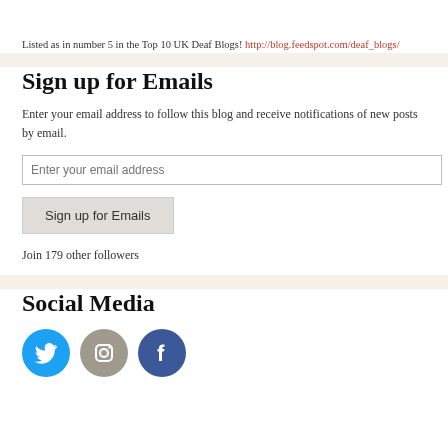Listed as in number 5 in the Top 10 UK Deaf Blogs! http://blog.feedspot.com/deaf_blogs/
Sign up for Emails
Enter your email address to follow this blog and receive notifications of new posts by email.
Enter your email address
Sign up for Emails
Join 179 other followers
Social Media
[Figure (illustration): Three social media icon circles: Twitter (blue bird), Instagram (grey camera), Facebook (blue f)]